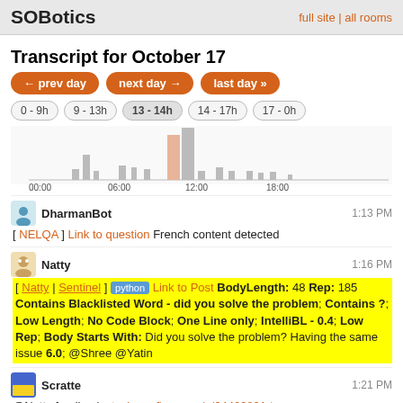SOBotics | full site | all rooms
Transcript for October 17
← prev day
next day →
last day »
0 - 9h
9 - 13h
13 - 14h
14 - 17h
17 - 0h
[Figure (bar-chart): Message activity by hour]
DharmanBot 1:13 PM [ NELQA ] Link to question French content detected
Natty 1:16 PM [ Natty | Sentinel ] python Link to Post BodyLength: 48 Rep: 185 Contains Blacklisted Word - did you solve the problem; Contains ?; Low Length; No Code Block; One Line only; IntelliBL - 0.4; Low Rep; Body Starts With: Did you solve the problem? Having the same issue 6.0; @Shree @Yatin
Scratte 1:21 PM @Natty feedback stackoverflow.com/a/64402891 tp
Yatin 1:22 PM @Natty feedback stackoverflow.com/a/64402891 tp @Natty can relate. Kivy was an absolute nightmare to work with. I abandoned the idea